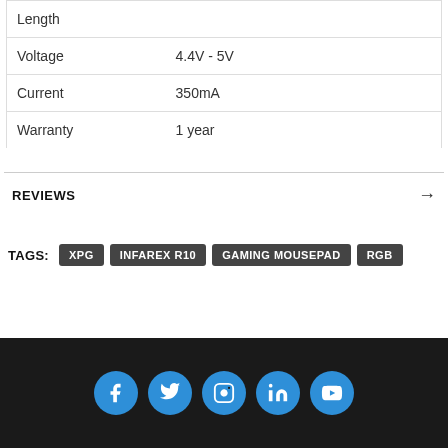| Property | Value |
| --- | --- |
| Length |  |
| Voltage | 4.4V - 5V |
| Current | 350mA |
| Warranty | 1 year |
REVIEWS
TAGS: XPG  INFAREX R10  GAMING MOUSEPAD  RGB
[Figure (infographic): Social media icon buttons: Facebook, Twitter, Instagram, LinkedIn, YouTube on dark background footer]